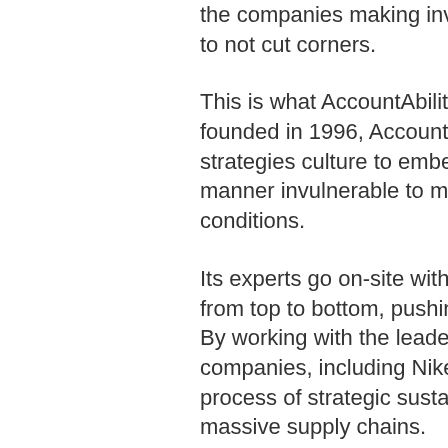the companies making investments to not cut corners.
This is what AccountAbility does. A founded in 1996, AccountAbility digs strategies culture to embed sustaina manner invulnerable to market whim conditions.
Its experts go on-site with leaders a from top to bottom, pushing tangible. By working with the leadership of so companies, including Nike and Niss process of strategic sustainability th massive supply chains.
But AccountAbility is more than a co Its Global Accountability Report eva development banks and NGOs as w have plenty of room to improve on m whether their members control their consultative they are with other stak cannot solve these problems, but co